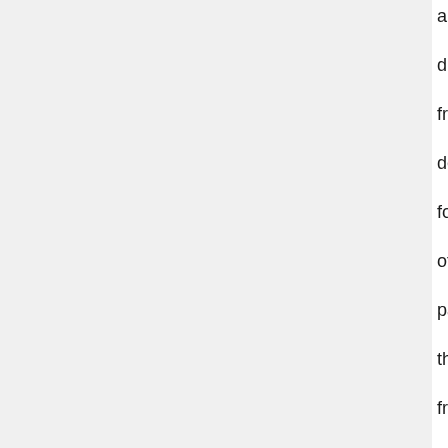there is not a converter different from the default one for the type of this parameter, the framework will generate a safe string (taskName.getParameter(pa... This is not informative to the end user so, you should provide the Jython string representation